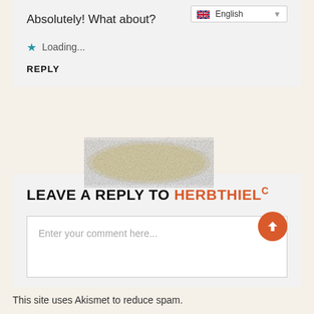Absolutely! What about?
Loading...
REPLY
[Figure (photo): Decorative texture blob, beige/cream colored sandy texture in oval shape]
LEAVE A REPLY TO HERBTHIELC
Enter your comment here...
This site uses Akismet to reduce spam.